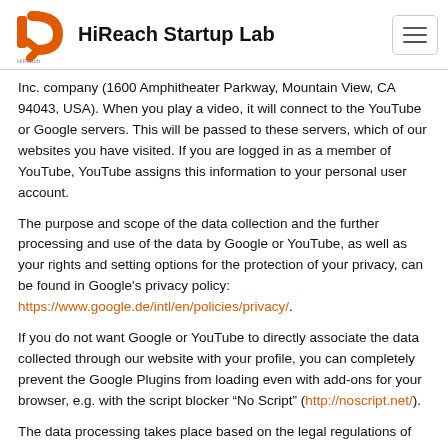HiReach Startup Lab
Inc. company (1600 Amphitheater Parkway, Mountain View, CA 94043, USA). When you play a video, it will connect to the YouTube or Google servers. This will be passed to these servers, which of our websites you have visited. If you are logged in as a member of YouTube, YouTube assigns this information to your personal user account.
The purpose and scope of the data collection and the further processing and use of the data by Google or YouTube, as well as your rights and setting options for the protection of your privacy, can be found in Google's privacy policy: https://www.google.de/intl/en/policies/privacy/.
If you do not want Google or YouTube to directly associate the data collected through our website with your profile, you can completely prevent the Google Plugins from loading even with add-ons for your browser, e.g. with the script blocker “No Script” (http://noscript.net/).
The data processing takes place based on the legal regulations of the § 96 exp. 3 TKG as well as of the kind 6 exp. 1 a